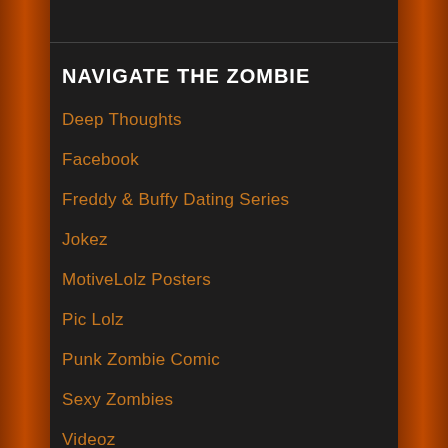NAVIGATE THE ZOMBIE
Deep Thoughts
Facebook
Freddy & Buffy Dating Series
Jokez
MotiveLolz Posters
Pic Lolz
Punk Zombie Comic
Sexy Zombies
Videoz
z'Old Funny Crap
Zombies want BRAINZ